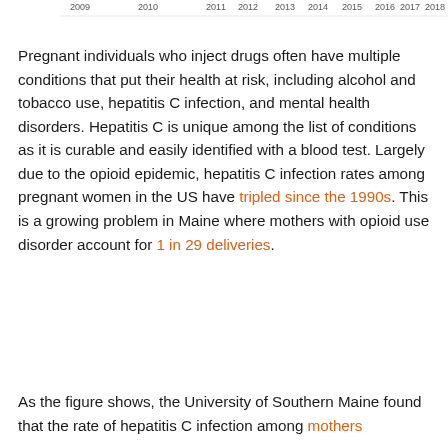[Figure (continuous-plot): Partial view of a line chart showing hepatitis C infection rates over years 2009–2018, with only the x-axis year labels visible at the top of the cropped view.]
Pregnant individuals who inject drugs often have multiple conditions that put their health at risk, including alcohol and tobacco use, hepatitis C infection, and mental health disorders. Hepatitis C is unique among the list of conditions as it is curable and easily identified with a blood test. Largely due to the opioid epidemic, hepatitis C infection rates among pregnant women in the US have tripled since the 1990s. This is a growing problem in Maine where mothers with opioid use disorder account for 1 in 29 deliveries.
As the figure shows, the University of Southern Maine found that the rate of hepatitis C infection among mothers